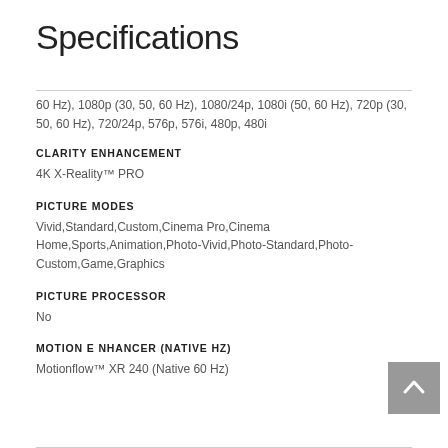Specifications
60 Hz), 1080p (30, 50, 60 Hz), 1080/24p, 1080i (50, 60 Hz), 720p (30, 50, 60 Hz), 720/24p, 576p, 576i, 480p, 480i
CLARITY ENHANCEMENT
4K X-Reality™ PRO
PICTURE MODES
Vivid,Standard,Custom,Cinema Pro,Cinema Home,Sports,Animation,Photo-Vivid,Photo-Standard,Photo-Custom,Game,Graphics
PICTURE PROCESSOR
No
MOTION ENHANCER (NATIVE HZ)
Motionflow™ XR 240 (Native 60 Hz)